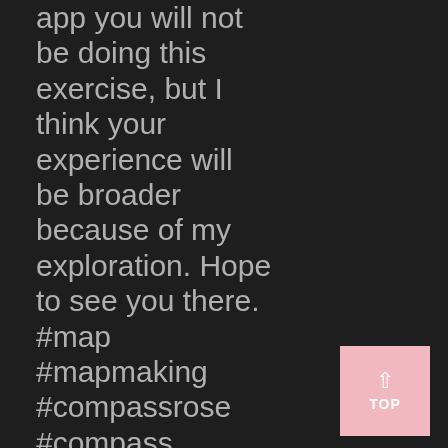app you will not be doing this exercise, but I think your experience will be broader because of my exploration. Hope to see you there. #map #mapmaking #compassrose #compass #direction #lost #mixedmedia #mixedmediaartist #exploration